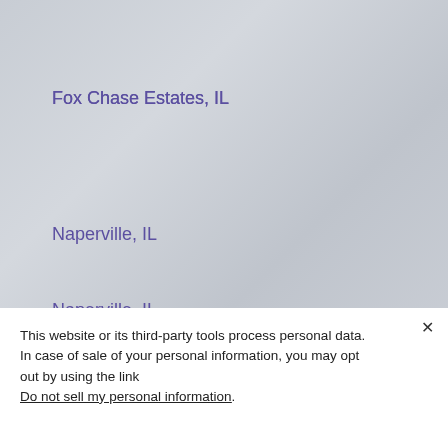Fox Chase Estates, IL
Naperville, IL
Moorefield Estates, IL
Equestrian Woods, IL
This website or its third-party tools process personal data. In case of sale of your personal information, you may opt out by using the link Do not sell my personal information.